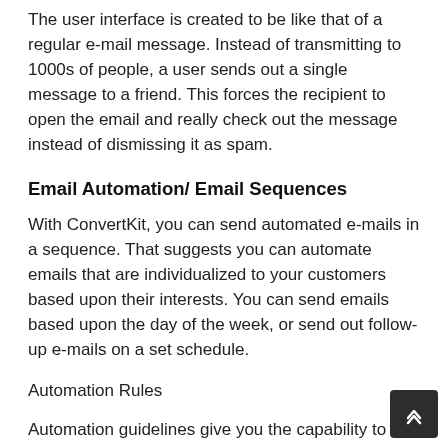The user interface is created to be like that of a regular e-mail message. Instead of transmitting to 1000s of people, a user sends out a single message to a friend. This forces the recipient to open the email and really check out the message instead of dismissing it as spam.
Email Automation/ Email Sequences
With ConvertKit, you can send automated e-mails in a sequence. That suggests you can automate emails that are individualized to your customers based upon their interests. You can send emails based upon the day of the week, or send out follow-up e-mails on a set schedule.
Automation Rules
Automation guidelines give you the capability to help your subscriber prevent getting the e-mails that